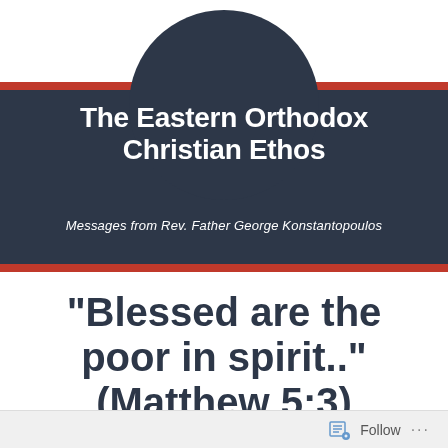[Figure (logo): Eastern Orthodox Christian Ethos podcast/show logo with dark navy circle at top, dark navy horizontal band with red accent stripes, white bold title text and italic subtitle]
The Eastern Orthodox Christian Ethos
Messages from Rev. Father George Konstantopoulos
“Blessed are the poor in spirit..” (Matthew 5:3)
Follow ...